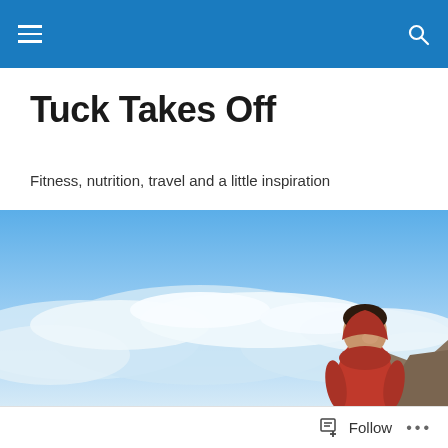Tuck Takes Off
Fitness, nutrition, travel and a little inspiration
[Figure (photo): Person in red jacket smiling at mountain summit above clouds]
Surviving, when you think you're gonna die
Follow